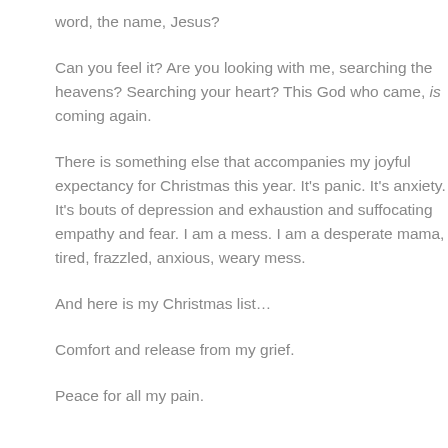word, the name, Jesus?
Can you feel it? Are you looking with me, searching the heavens? Searching your heart? This God who came, is coming again.
There is something else that accompanies my joyful expectancy for Christmas this year. It's panic. It's anxiety. It's bouts of depression and exhaustion and suffocating empathy and fear. I am a mess. I am a desperate mama, a tired, frazzled, anxious, weary mess.
And here is my Christmas list…
Comfort and release from my grief.
Peace for all my pain.